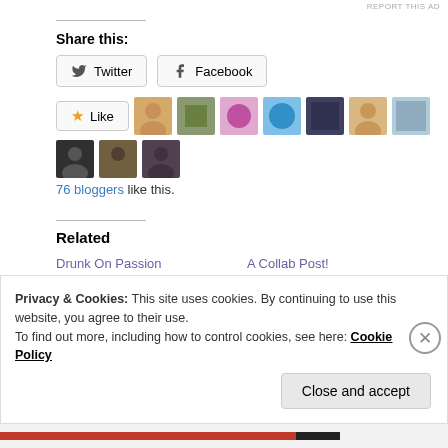Share this:
Twitter   Facebook
[Figure (other): Like button with star icon followed by 10 blogger avatar thumbnails]
76 bloggers like this.
Related
Drunk On Passion
May 22, 2021
In "art"
A Collab Post!
Aug 18, 2020
In "a lightyear journey"
Privacy & Cookies: This site uses cookies. By continuing to use this website, you agree to their use.
To find out more, including how to control cookies, see here: Cookie Policy
Close and accept